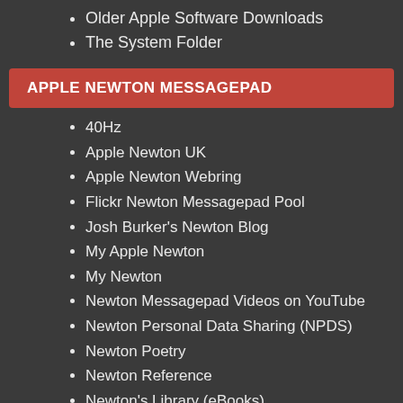Older Apple Software Downloads
The System Folder
APPLE NEWTON MESSAGEPAD
40Hz
Apple Newton UK
Apple Newton Webring
Flickr Newton Messagepad Pool
Josh Burker's Newton Blog
My Apple Newton
My Newton
Newton Messagepad Videos on YouTube
Newton Personal Data Sharing (NPDS)
Newton Poetry
Newton Reference
Newton's Library (eBooks)
Newtons and Accessories on eBay
NewtonTalk Mailing List
NewtShare
Older Apple Software Downloads
Radio Free Newton